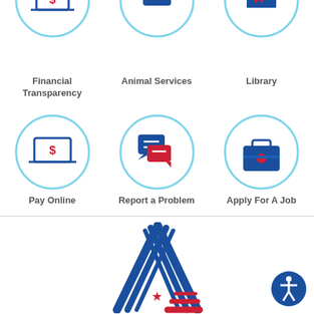[Figure (infographic): Top row of service icons: Financial Transparency (laptop with dollar sign), Animal Services (dog/paw), Library (books/bookmark) - partially visible circles at top]
Financial Transparency
Animal Services
Library
[Figure (infographic): Bottom row of service icons: Pay Online (laptop with dollar), Report a Problem (speech bubbles), Apply For A Job (briefcase) in light blue circles]
Pay Online
Report a Problem
Apply For A Job
[Figure (logo): City/government logo - stylized letter A made of blue diagonal stripes with red star and red stripes at bottom]
[Figure (logo): Accessibility icon - blue circle with white wheelchair user symbol]